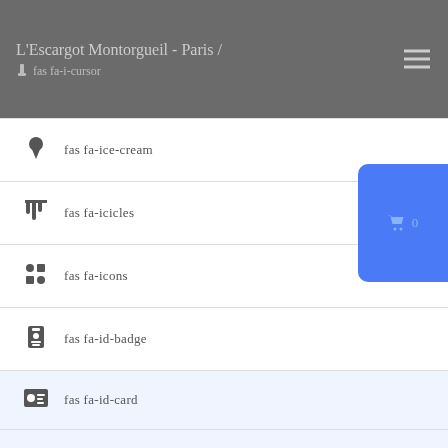L'Escargot Montorgueil - Paris / fas fa-i-cursor
fas fa-ice-cream
fas fa-icicles
fas fa-icons
fas fa-id-badge
fas fa-id-card
fas fa-id-card-alt